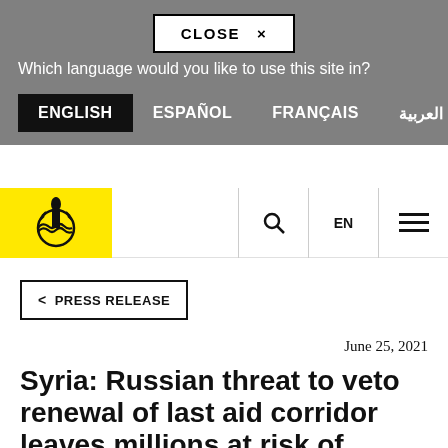CLOSE ×
Which language would you like to use this site in?
ENGLISH   ESPAÑOL   FRANÇAIS   العربية
[Figure (logo): Amnesty International logo — candle with barbed wire on yellow background]
🔍   EN   ☰
< PRESS RELEASE
June 25, 2021
Syria: Russian threat to veto renewal of last aid corridor leaves millions at risk of humanitarian